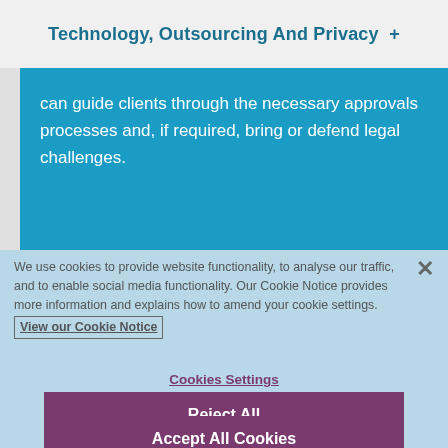Technology, Outsourcing And Privacy  +
can guide clients through the necessary approvals processes and, if required, bring or defend legal challenges.
We use cookies to provide website functionality, to analyse our traffic, and to enable social media functionality. Our Cookie Notice provides more information and explains how to amend your cookie settings. View our Cookie Notice
Cookies Settings
Reject All
Accept All Cookies